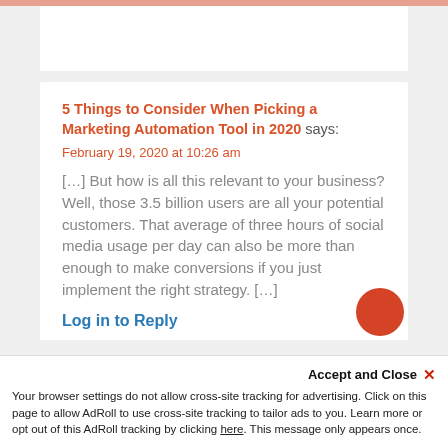5 Things to Consider When Picking a Marketing Automation Tool in 2020 says:
February 19, 2020 at 10:26 am
[…] But how is all this relevant to your business? Well, those 3.5 billion users are all your potential customers. That average of three hours of social media usage per day can also be more than enough to make conversions if you just implement the right strategy. […]
Log in to Reply
Accept and Close ×
Your browser settings do not allow cross-site tracking for advertising. Click on this page to allow AdRoll to use cross-site tracking to tailor ads to you. Learn more or opt out of this AdRoll tracking by clicking here. This message only appears once.